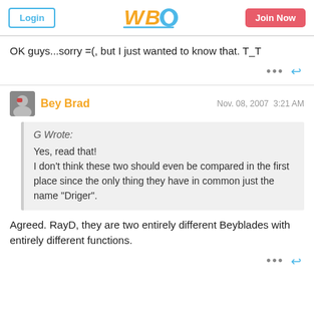WBO - Login | Join Now
OK guys...sorry =(, but I just wanted to know that. T_T
Bey Brad  Nov. 08, 2007  3:21 AM
G Wrote:
Yes, read that!
I don't think these two should even be compared in the first place since the only thing they have in common just the name "Driger".
Agreed. RayD, they are two entirely different Beyblades with entirely different functions.